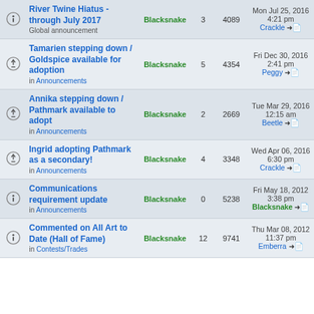|  | Topic | Author | Replies | Views | Last post |
| --- | --- | --- | --- | --- | --- |
| [icon] | River Twine Hiatus - through July 2017
Global announcement | Blacksnake | 3 | 4089 | Mon Jul 25, 2016 4:21 pm
Crackle → |
| [icon] | Tamarien stepping down / Goldspice available for adoption
in Announcements | Blacksnake | 5 | 4354 | Fri Dec 30, 2016 2:41 pm
Peggy → |
| [icon] | Annika stepping down / Pathmark available to adopt
in Announcements | Blacksnake | 2 | 2669 | Tue Mar 29, 2016 12:15 am
Beetle → |
| [icon] | Ingrid adopting Pathmark as a secondary!
in Announcements | Blacksnake | 4 | 3348 | Wed Apr 06, 2016 6:30 pm
Crackle → |
| [icon] | Communications requirement update
in Announcements | Blacksnake | 0 | 5238 | Fri May 18, 2012 3:38 pm
Blacksnake → |
| [icon] | Commented on All Art to Date (Hall of Fame)
in Contests/Trades | Blacksnake | 12 | 9741 | Thu Mar 08, 2012 11:37 pm
Emberra → |